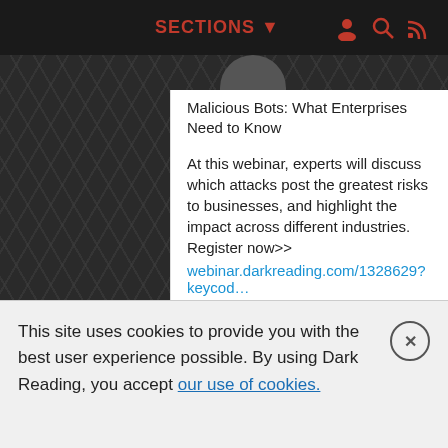SECTIONS
Malicious Bots: What Enterprises Need to Know
At this webinar, experts will discuss which attacks post the greatest risks to businesses, and highlight the impact across different industries. Register now>> webinar.darkreading.com/1328629?keycod…
DarkReading @DarkReadi… · Aug 27
This site uses cookies to provide you with the best user experience possible. By using Dark Reading, you accept our use of cookies.